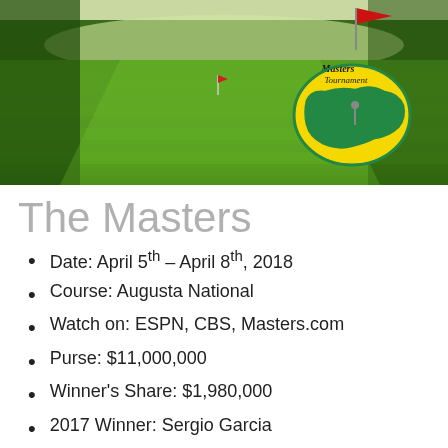[Figure (photo): Augusta National golf course fairway with green grass and trees, Masters Tournament logo in upper right corner]
The Masters
Date: April 5th – April 8th, 2018
Course: Augusta National
Watch on: ESPN, CBS, Masters.com
Purse: $11,000,000
Winner's Share: $1,980,000
2017 Winner: Sergio Garcia